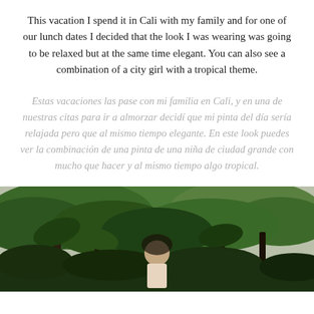This vacation I spend it in Cali with my family and for one of our lunch dates I decided that the look I was wearing was going to be relaxed but at the same time elegant. You can also see a combination of a city girl with a tropical theme.
Estas vacaciones las pase con mi familia en Cali, y en una de nuestras citas para ir a almorzar decidí que mi pinta del día sería relajada pero que al mismo tiempo elegante. En este look puedes ver la combinación de una pinta de una niña de ciudad grande con mucho que hacer y al mismo tiempo algo tropical.
[Figure (photo): Outdoor photo of a person standing among lush tropical green trees and vegetation in Cali, Colombia. The scene shows dense foliage with palm-like trees in the background and an overcast sky.]